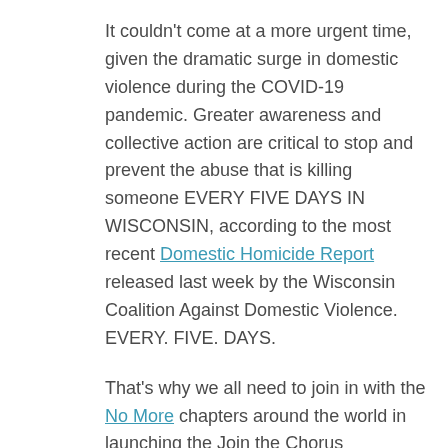It couldn't come at a more urgent time, given the dramatic surge in domestic violence during the COVID-19 pandemic. Greater awareness and collective action are critical to stop and prevent the abuse that is killing someone EVERY FIVE DAYS IN WISCONSIN, according to the most recent Domestic Homicide Report released last week by the Wisconsin Coalition Against Domestic Violence. EVERY. FIVE. DAYS.
That's why we all need to join in with the No More chapters around the world in launching the Join the Chorus campaign during October. Everyone — leaders, communities, bystanders — must lend their voice to say No More!